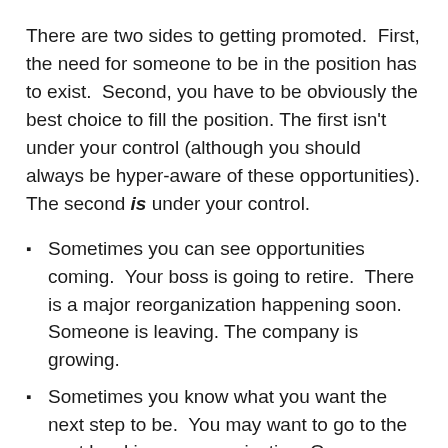There are two sides to getting promoted.  First, the need for someone to be in the position has to exist.  Second, you have to be obviously the best choice to fill the position. The first isn't under your control (although you should always be hyper-aware of these opportunities). The second is under your control.
Sometimes you can see opportunities coming.  Your boss is going to retire.  There is a major reorganization happening soon.  Someone is leaving. The company is growing.
Sometimes you know what you want the next step to be.  You may want to go to the next level in your organization. Or you may want to hop to another organization with a new kind of position.
You should have A PLAN for each opportunity...